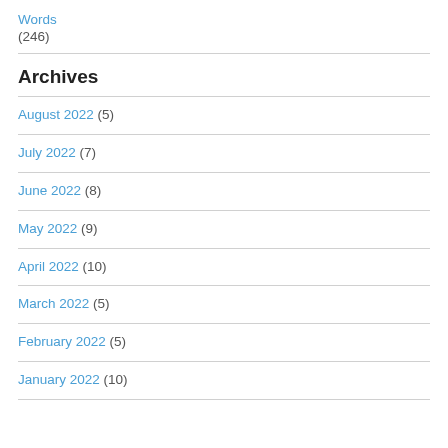Words (246)
Archives
August 2022 (5)
July 2022 (7)
June 2022 (8)
May 2022 (9)
April 2022 (10)
March 2022 (5)
February 2022 (5)
January 2022 (10)